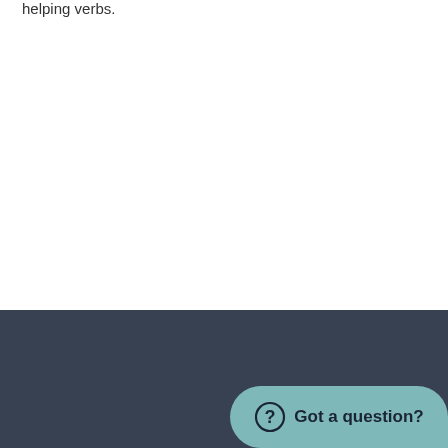helping verbs.
Explanation for How Helping Verbs: …□□□ and …□□□ Work